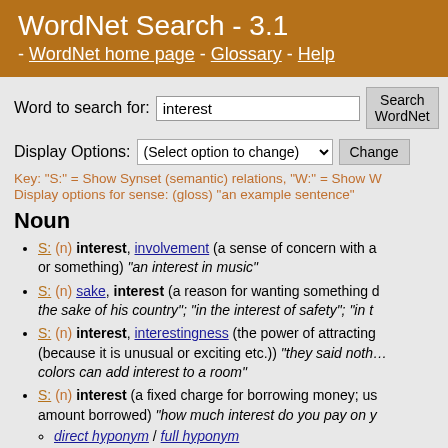WordNet Search - 3.1 - WordNet home page - Glossary - Help
Word to search for: interest [Search WordNet]
Display Options: (Select option to change) [Change]
Key: "S:" = Show Synset (semantic) relations, "W:" = Show W...
Display options for sense: (gloss) "an example sentence"
Noun
S: (n) interest, involvement (a sense of concern with and curiosity about someone or something) "an interest in music"
S: (n) sake, interest (a reason for wanting something done) "for the sake of his country"; "in the interest of safety"; "in t...
S: (n) interest, interestingness (the power of attracting or holding one's attention (because it is unusual or exciting etc.)) "they said noth...; colors can add interest to a room"
S: (n) interest (a fixed charge for borrowing money; usually a percentage of the amount borrowed) "how much interest do you pay on y..."
direct hyponym / full hyponym